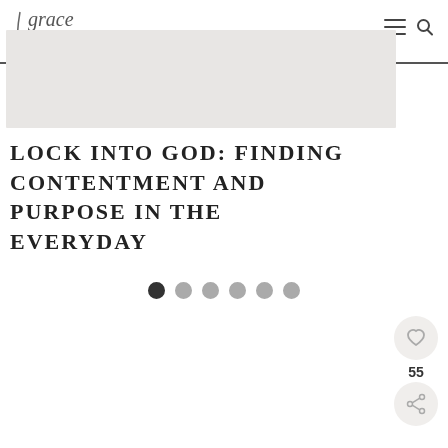grace IN MY SPACE
[Figure (photo): Gray banner image area in header region]
LOCK INTO GOD: FINDING CONTENTMENT AND PURPOSE IN THE EVERYDAY
[Figure (other): Six pagination dots, first dot filled dark, rest lighter]
[Figure (other): Heart/save button icon and share button icon with count 55]